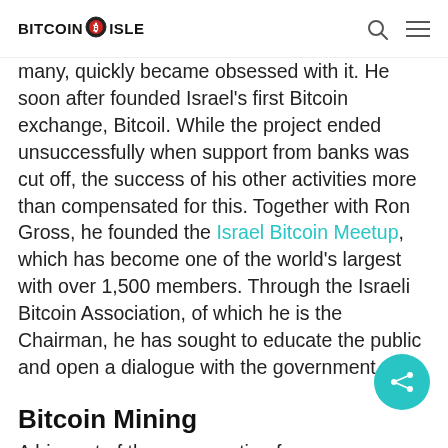BITCOIN ISLE
many, quickly became obsessed with it. He soon after founded Israel's first Bitcoin exchange, Bitcoil. While the project ended unsuccessfully when support from banks was cut off, the success of his other activities more than compensated for this. Together with Ron Gross, he founded the Israel Bitcoin Meetup, which has become one of the world's largest with over 1,500 members. Through the Israeli Bitcoin Association, of which he is the Chairman, he has sought to educate the public and open a dialogue with the government.
Bitcoin Mining
A big part of the conversation for a...